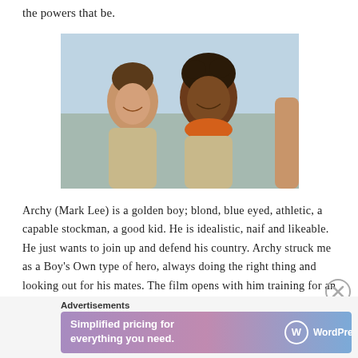the powers that be.
[Figure (photo): Film still showing two young men smiling outdoors. One is light-skinned with dark hair, the other has curly dark hair and wears an orange scarf/bandana. A third person's arm is partially visible on the right.]
Archy (Mark Lee) is a golden boy; blond, blue eyed, athletic, a capable stockman, a good kid. He is idealistic, naif and likeable. He just wants to join up and defend his country. Archy struck me as a Boy's Own type of hero, always doing the right thing and looking out for his mates. The film opens with him training for an upcoming sprint race, and talking to his Uncle Jack (Bill Kerr). Their dialogue gives me a lump in the throat every time,
Advertisements
[Figure (screenshot): WordPress.com advertisement banner: 'Simplified pricing for everything you need.' with WordPress.com logo on gradient purple-pink background.]